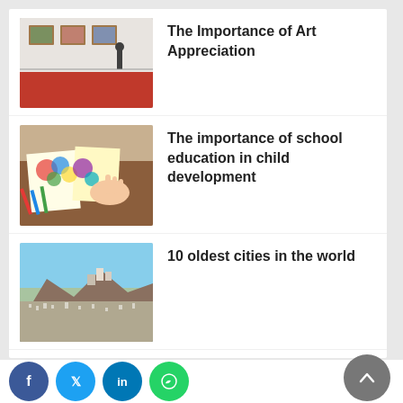The Importance of Art Appreciation
[Figure (photo): Person standing in an art gallery viewing paintings on a red wall]
The importance of school education in child development
[Figure (photo): Children's colorful art and craft drawings on a table with pencils]
10 oldest cities in the world
[Figure (photo): Aerial view of an ancient city on a hillside]
The Importance of Art Education in Schools
[Figure (photo): Colorful painted hands raised up]
Facebook Twitter LinkedIn WhatsApp